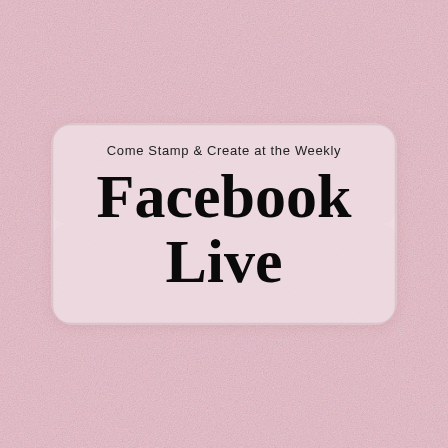[Figure (illustration): Rose pink glittery sparkle background filling the entire page, with a rounded rectangle label/banner in the center containing text.]
Come Stamp & Create at the Weekly
Facebook Live